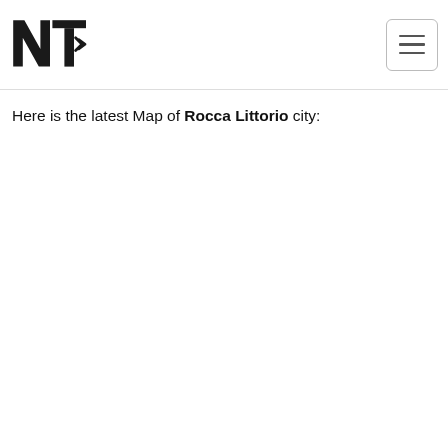[Figure (logo): NTI logo — stylized letters N and T with arrow chevrons, black on white]
Here is the latest Map of Rocca Littorio city: